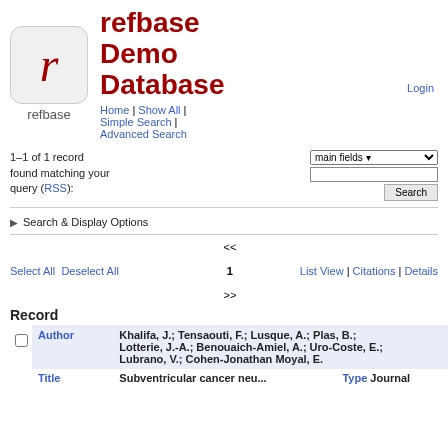refbase Demo Database
Home | Show All | Simple Search | Advanced Search
Login
1–1 of 1 record found matching your query (RSS):
Search & Display Options
<< 1 >>
Select All   Deselect All   List View | Citations | Details
|  | Record |  |  |
| --- | --- | --- | --- |
|  | Author | Khalifa, J.; Tensaouti, F.; Lusque, A.; Plas, B.; Lotterie, J.-A.; Benouaich-Amiel, A.; Uro-Coste, E.; Lubrano, V.; Cohen-Jonathan Moyal, E. |  |
|  | Title | Subventricular cancer neu... | Type   Journal |